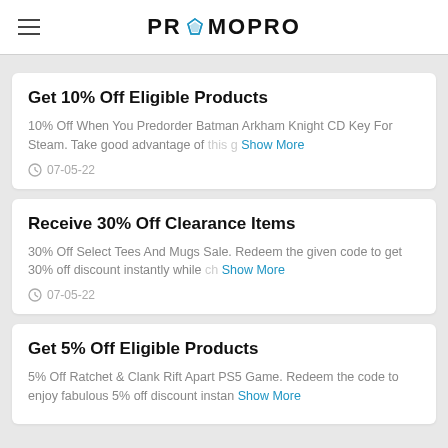PROMOPRO
Get 10% Off Eligible Products
10% Off When You Predorder Batman Arkham Knight CD Key For Steam. Take good advantage of this g Show More
07-05-22
Receive 30% Off Clearance Items
30% Off Select Tees And Mugs Sale. Redeem the given code to get 30% off discount instantly while ch Show More
07-05-22
Get 5% Off Eligible Products
5% Off Ratchet & Clank Rift Apart PS5 Game. Redeem the code to enjoy fabulous 5% off discount instan Show More